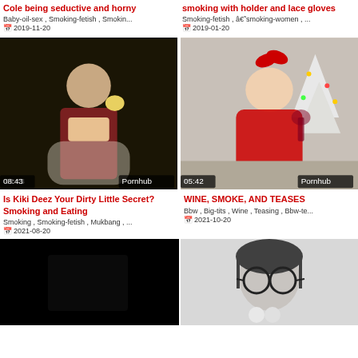Cole being seductive and horny — Baby-oil-sex , Smoking-fetish , Smokin... 📅 2019-11-20
smoking with holder and lace gloves — Smoking-fetish , â€˜smoking-women , ... 📅 2019-01-20
[Figure (photo): Woman in red lingerie eating/holding food, dark background, duration 08:43, Pornhub]
[Figure (photo): Blonde woman in red lace bodysuit near Christmas tree holding wine glass, duration 05:42, Pornhub]
Is Kiki Deez Your Dirty Little Secret? Smoking and Eating — Smoking , Smoking-fetish , Mukbang , ... 📅 2021-08-20
WINE, SMOKE, AND TEASES — Bbw , Big-tits , Wine , Teasing , Bbw-te... 📅 2021-10-20
[Figure (photo): Mostly black/dark thumbnail, partial view]
[Figure (photo): Black and white photo of woman with glasses, close-up]